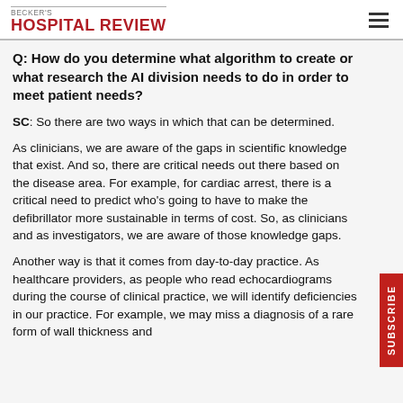BECKER'S HOSPITAL REVIEW
Q: How do you determine what algorithm to create or what research the AI division needs to do in order to meet patient needs?
SC: So there are two ways in which that can be determined.
As clinicians, we are aware of the gaps in scientific knowledge that exist. And so, there are critical needs out there based on the disease area. For example, for cardiac arrest, there is a critical need to predict who's going to have to make the defibrillator more sustainable in terms of cost. So, as clinicians and as investigators, we are aware of those knowledge gaps.
Another way is that it comes from day-to-day practice. As healthcare providers, as people who read echocardiograms during the course of clinical practice, we will identify deficiencies in our practice. For example, we may miss a diagnosis of a rare form of wall thickness and